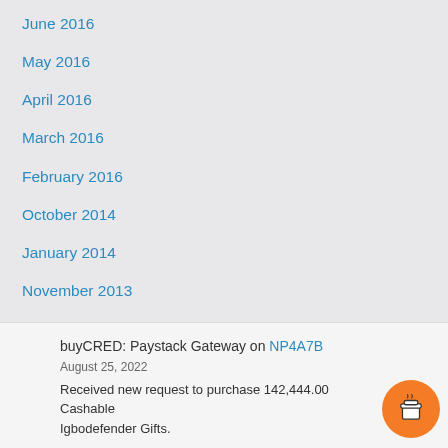June 2016
May 2016
April 2016
March 2016
February 2016
October 2014
January 2014
November 2013
October 2012
July 2012
August 2011
buyCRED: Paystack Gateway on NP4A7B
August 25, 2022
Received new request to purchase 142,444.00 Cashable Igbodefender Gifts.